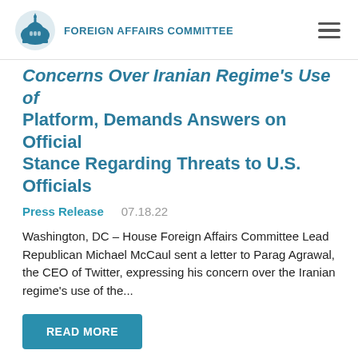FOREIGN AFFAIRS COMMITTEE
Concerns Over Iranian Regime's Use of Platform, Demands Answers on Official Stance Regarding Threats to U.S. Officials
Press Release   07.18.22
Washington, DC – House Foreign Affairs Committee Lead Republican Michael McCaul sent a letter to Parag Agrawal, the CEO of Twitter, expressing his concern over the Iranian regime's use of the...
READ MORE
House Passes NDAA With McCaul Supported Amendments